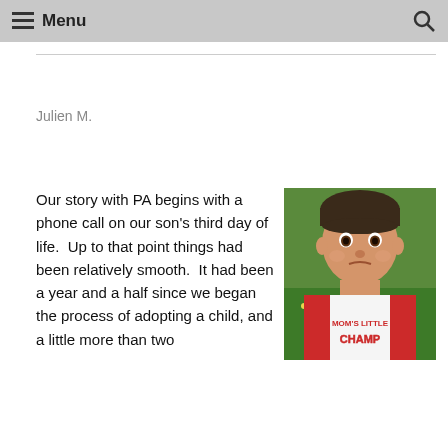Menu
Julien M.
Our story with PA begins with a phone call on our son's third day of life.  Up to that point things had been relatively smooth.  It had been a year and a half since we began the process of adopting a child, and a little more than two
[Figure (photo): A baby/toddler wearing a red and white baseball-style shirt that reads "MOM'S LITTLE CHAMP", sitting outdoors on green grass with yellow flowers in the background.]